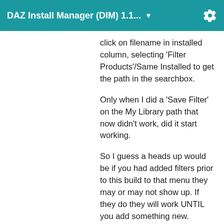DAZ Install Manager (DIM) 1.1.... ▼
click on filename in installed column, selecting 'Filter Products'/Same Installed to get the path in the searchbox.
Only when I did a 'Save Filter' on the My Library path that now didn't work, did it start working.
So I guess a heads up would be if you had added filters prior to this build to that menu they may or may not show up. If they do they will work UNTIL you add something new. Probably affects few if any people other than myself.